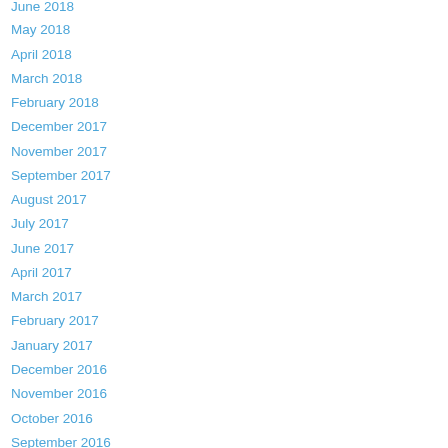June 2018
May 2018
April 2018
March 2018
February 2018
December 2017
November 2017
September 2017
August 2017
July 2017
June 2017
April 2017
March 2017
February 2017
January 2017
December 2016
November 2016
October 2016
September 2016
August 2016